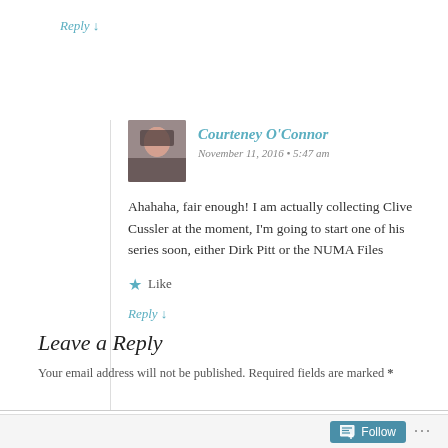Reply ↓
[Figure (photo): Avatar photo of Courteney O'Connor, a young woman]
Courteney O'Connor
November 11, 2016 • 5:47 am
Ahahaha, fair enough! I am actually collecting Clive Cussler at the moment, I'm going to start one of his series soon, either Dirk Pitt or the NUMA Files
★ Like
Reply ↓
Leave a Reply
Your email address will not be published. Required fields are marked *